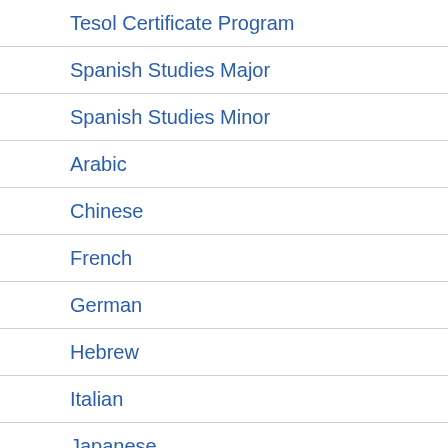Tesol Certificate Program
Spanish Studies Major
Spanish Studies Minor
Arabic
Chinese
French
German
Hebrew
Italian
Japanese
Persian